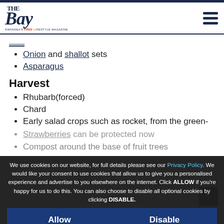The Bay – Swansea's Free Lifestyle Magazine
Onion and shallot sets
Asparagus
Harvest
Rhubarb(forced)
Chard
Early salad crops such as rocket, from the green-
Strawberries can be protected now
Compost around the base of fruit trees
We use cookies on our website, for full details please see our Privacy Policy. We would like your consent to use cookies that allow us to give you a personalised experience and advertise to you elsewhere on the internet. Click ALLOW if you're happy for us to do this. You can also choose to disable all optional cookies by clicking DISABLE.